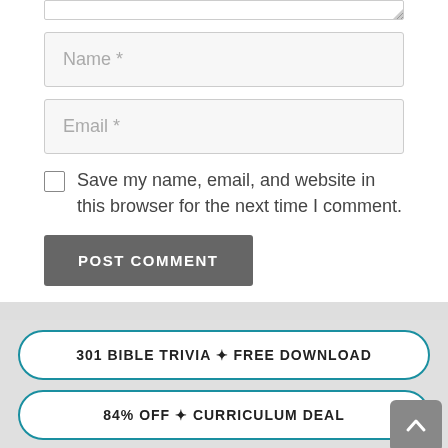[Figure (screenshot): Partial bottom of a textarea form field with resize handle]
Name *
Email *
Save my name, email, and website in this browser for the next time I comment.
POST COMMENT
301 BIBLE TRIVIA ✦ FREE DOWNLOAD
84% OFF ✦ CURRICULUM DEAL
SPLASH ✦ FREE LESSON